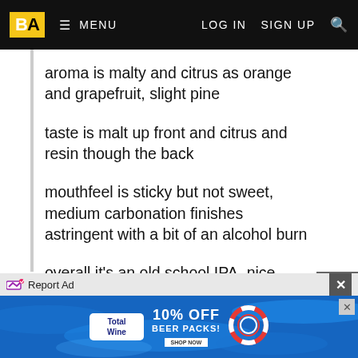BA  MENU  LOG IN  SIGN UP
aroma is malty and citrus as orange and grapefruit, slight pine
taste is malt up front and citrus and resin though the back
mouthfeel is sticky but not sweet, medium carbonation finishes astringent with a bit of an alcohol burn
overall it's an old school IPA, nice balance of malt and hops, super easy to drink and hides the 9.4 abv well.
May 05, 2021
[Figure (screenshot): Advertisement banner: Total Wine 10% OFF BEER PACKS with Report Ad button and close button]